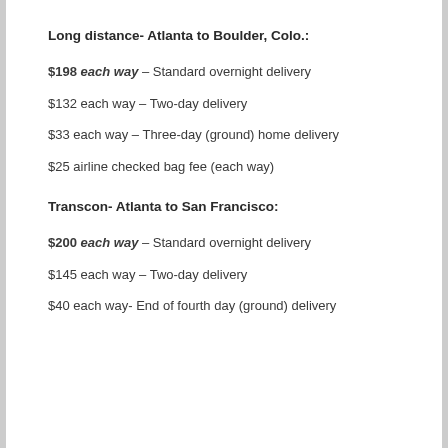Long distance- Atlanta to Boulder, Colo.:
$198 each way – Standard overnight delivery
$132 each way – Two-day delivery
$33 each way – Three-day (ground) home delivery
$25 airline checked bag fee (each way)
Transcon- Atlanta to San Francisco:
$200 each way – Standard overnight delivery
$145 each way – Two-day delivery
$40 each way- End of fourth day (ground) delivery